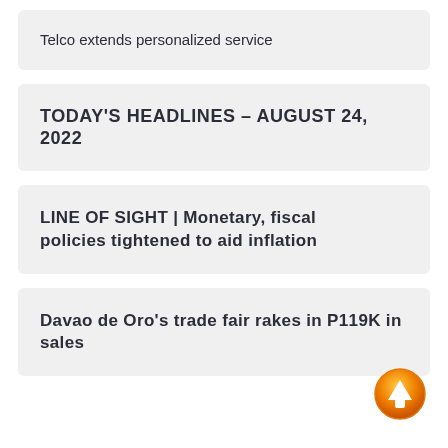Telco extends personalized service
TODAY'S HEADLINES – AUGUST 24, 2022
LINE OF SIGHT | Monetary, fiscal policies tightened to aid inflation
Davao de Oro's trade fair rakes in P119K in sales
[Figure (illustration): Orange circular up-arrow scroll-to-top button]